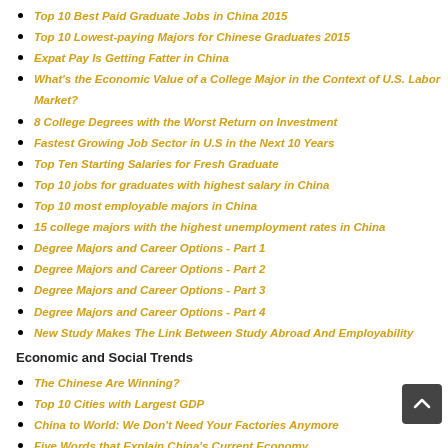Top 10 Best Paid Graduate Jobs in China 2015
Top 10 Lowest-paying Majors for Chinese Graduates 2015
Expat Pay Is Getting Fatter in China
What's the Economic Value of a College Major in the Context of U.S. Labor Market?
8 College Degrees with the Worst Return on Investment
Fastest Growing Job Sector in U.S in the Next 10 Years
Top Ten Starting Salaries for Fresh Graduate
Top 10 jobs for graduates with highest salary in China
Top 10 most employable majors in China
15 college majors with the highest unemployment rates in China
Degree Majors and Career Options - Part 1
Degree Majors and Career Options - Part 2
Degree Majors and Career Options - Part 3
Degree Majors and Career Options - Part 4
New Study Makes The Link Between Study Abroad And Employability
Economic and Social Trends
The Chinese Are Winning?
Top 10 Cities with Largest GDP
China to World: We Don't Need Your Factories Anymore
Five Words that Explain China's Current Economy
China Inches Up Global Innovation Index 2016
Second-child Policy Spurs New Spending in China
More Chinese Firms in Fortune 500